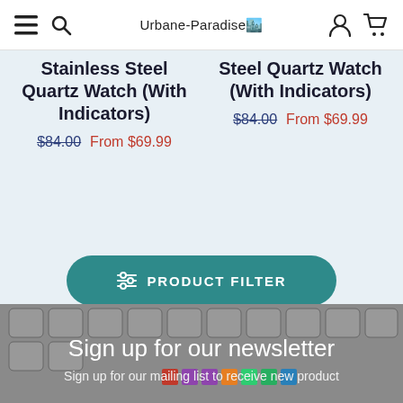Urbane-Paradise
Stainless Steel Quartz Watch (With Indicators)
$84.00  From $69.99
Steel Quartz Watch (With Indicators)
$84.00  From $69.99
PRODUCT FILTER
Sign up for our newsletter
Sign up for our mailing list to receive new product